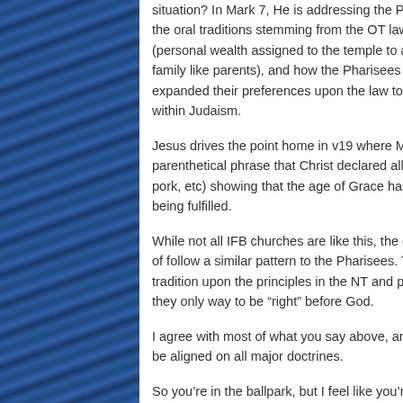situation? In Mark 7, He is addressing the Pharisees in regards to the oral traditions stemming from the OT law, such as Corban (personal wealth assigned to the temple to avoid taking care of family like parents), and how the Pharisees have taken law, expanded their preferences upon the law to ensure conformity within Judaism.
Jesus drives the point home in v19 where Mark adds a parenthetical phrase that Christ declared all food clean (shellfish, pork, etc) showing that the age of Grace has come and the law is being fulfilled.
While not all IFB churches are like this, the ones I've been a part of follow a similar pattern to the Pharisees. They've created oral tradition upon the principles in the NT and passed them off as they only way to be “right” before God.
I agree with most of what you say above, and would expect us to be aligned on all major doctrines.
So you’re in the ballpark, but I feel like you’re